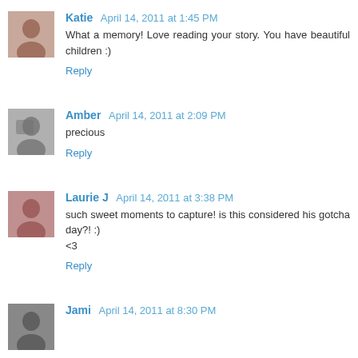Katie  April 14, 2011 at 1:45 PM
What a memory! Love reading your story. You have beautiful children :)
Reply
Amber  April 14, 2011 at 2:09 PM
precious
Reply
Laurie J  April 14, 2011 at 3:38 PM
such sweet moments to capture! is this considered his gotcha day?! :)
<3
Reply
Jami  April 14, 2011 at 8:30 PM